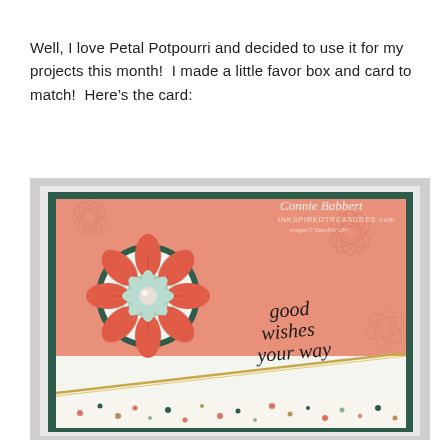Well, I love Petal Potpourri and decided to use it for my projects this month!  I made a little favor box and card to match!  Here’s the card:
[Figure (photo): A handmade greeting card featuring a coral/salmon floral stamped background, a large coral flower with dark green scallop layer and mint center, polka-dot patterned paper at the bottom, and gold ribbon trim. The card reads 'good wishes your way' in script. Watermark reads 'Connie Babbert INKSPIREDTREASURES.com'.]